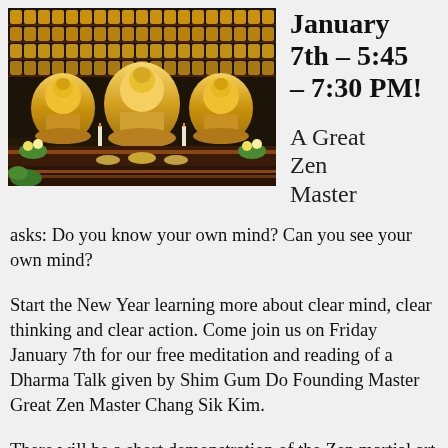[Figure (photo): Photo of three large golden Buddha statues seated on lotus thrones in a temple, with rows of smaller Buddha statues arranged on shelves behind them, candles in the foreground, and flower offerings.]
January 7th – 5:45 – 7:30 PM!
A Great Zen Master
asks: Do you know your own mind? Can you see your own mind?
Start the New Year learning more about clear mind, clear thinking and clear action. Come join us on Friday January 7th for our free meditation and reading of a Dharma Talk given by Shim Gum Do Founding Master Great Zen Master Chang Sik Kim.
There will be a short demonstration of the Zen martial art